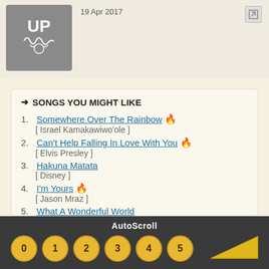[Figure (illustration): Album art thumbnail - grey square with decorative white line drawing]
19 Apr 2017
➜ SONGS YOU MIGHT LIKE
1. Somewhere Over The Rainbow 🔥 [ Israel Kamakawiwo'ole ]
2. Can't Help Falling In Love With You 🔥 [ Elvis Presley ]
3. Hakuna Matata [ Disney ]
4. I'm Yours 🔥 [ Jason Mraz ]
5. What A Wonderful World [ Louis Armstrong ]
6. Riptide 🔥 [ Vance Joy ]
7. Imagine
AutoScroll  0 1 2 3 4 5